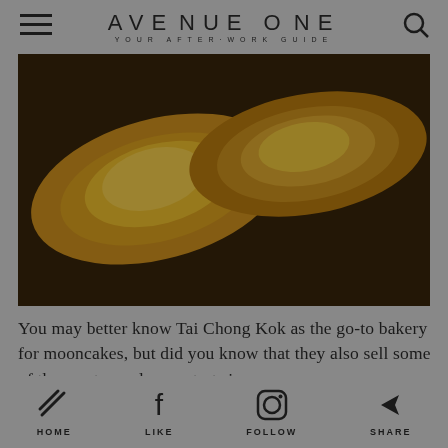AVENUE ONE — YOUR AFTER·WORK GUIDE
[Figure (photo): Close-up photo of golden egg tarts (dan tats) on a dark surface, with a dark brownish overlay]
You may better know Tai Chong Kok as the go-to bakery for mooncakes, but did you know that they also sell some of the most popular egg tarts in
HOME  LIKE  FOLLOW  SHARE